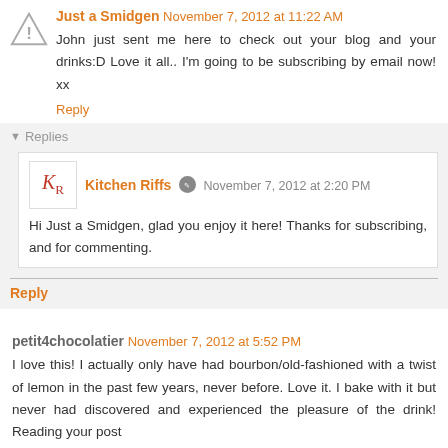Just a Smidgen November 7, 2012 at 11:22 AM
John just sent me here to check out your blog and your drinks:D Love it all.. I'm going to be subscribing by email now! xx
Reply
Replies
Kitchen Riffs November 7, 2012 at 2:20 PM
Hi Just a Smidgen, glad you enjoy it here! Thanks for subscribing, and for commenting.
Reply
petit4chocolatier November 7, 2012 at 5:52 PM
I love this! I actually only have had bourbon/old-fashioned with a twist of lemon in the past few years, never before. Love it. I bake with it but never had discovered and experienced the pleasure of the drink! Reading your post